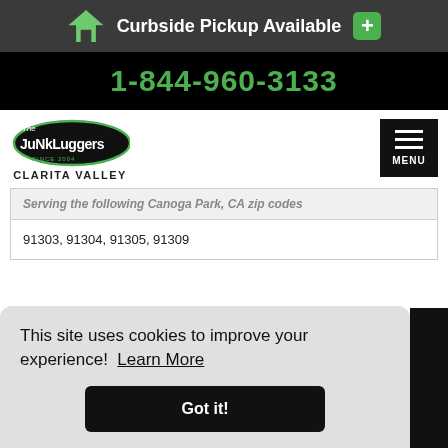Curbside Pickup Available
1-844-960-3133
[Figure (logo): The Junk Luggers logo with CLARITA VALLEY text below]
Serving the following Canoga Park, CA zip codes
91303, 91304, 91305, 91309
This site uses cookies to improve your experience! Learn More
Got it!